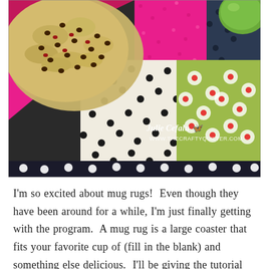[Figure (photo): Close-up photo of a baked good (cookie or scone with chocolate chips) resting on a colorful patchwork quilt/mug rug with polka dot, pink floral, and green fabric patterns. A green apple is partially visible in the upper right corner. Watermark reads 'Julie Cefalu' and 'WWW.THECRAFTYQUILTER.COM'.]
I'm so excited about mug rugs!  Even though they have been around for a while, I'm just finally getting with the program.  A mug rug is a large coaster that fits your favorite cup of (fill in the blank) and something else delicious.  I'll be giving the tutorial for more on this in the next